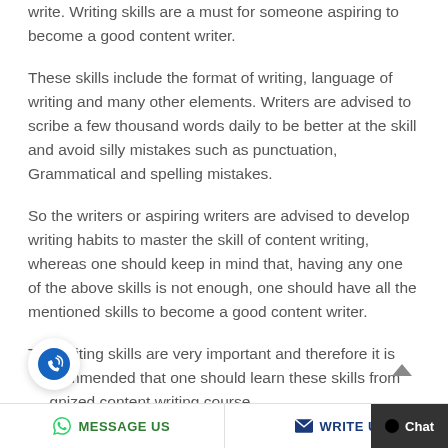write. Writing skills are a must for someone aspiring to become a good content writer.
These skills include the format of writing, language of writing and many other elements. Writers are advised to scribe a few thousand words daily to be better at the skill and avoid silly mistakes such as punctuation, Grammatical and spelling mistakes.
So the writers or aspiring writers are advised to develop writing habits to master the skill of content writing, whereas one should keep in mind that, having any one of the above skills is not enough, one should have all the mentioned skills to become a good content writer.
The writing skills are very important and therefore it is recommended that one should learn these skills from a recognized content writing course.
MESSAGE US   WRITE U   Chat